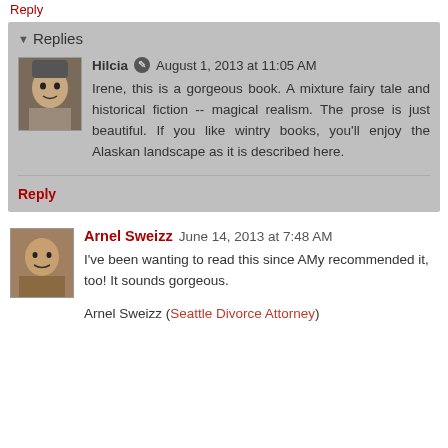Reply
Replies
Hilcia  August 1, 2013 at 11:05 AM
Irene, this is a gorgeous book. A mixture fairy tale and historical fiction -- magical realism. The prose is just beautiful. If you like wintry books, you'll enjoy the Alaskan landscape as it is described here.
Reply
Arnel Sweizz  June 14, 2013 at 7:48 AM
I've been wanting to read this since AMy recommended it, too! It sounds gorgeous.
Arnel Sweizz (Seattle Divorce Attorney)